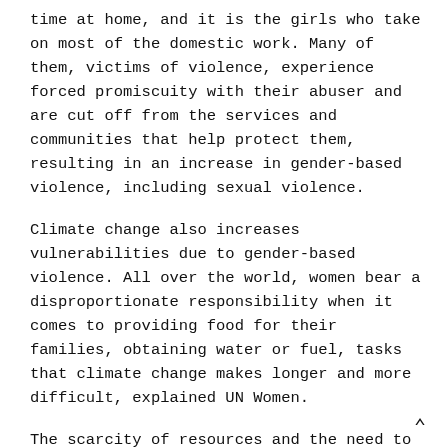time at home, and it is the girls who take on most of the domestic work. Many of them, victims of violence, experience forced promiscuity with their abuser and are cut off from the services and communities that help protect them, resulting in an increase in gender-based violence, including sexual violence.
Climate change also increases vulnerabilities due to gender-based violence. All over the world, women bear a disproportionate responsibility when it comes to providing food for their families, obtaining water or fuel, tasks that climate change makes longer and more difficult, explained UN Women.
The scarcity of resources and the need to travel long distances to get them expose women to more violence and increased risk factors related to human trafficking, child marriage or obligation to generate income to escape domestic violence.